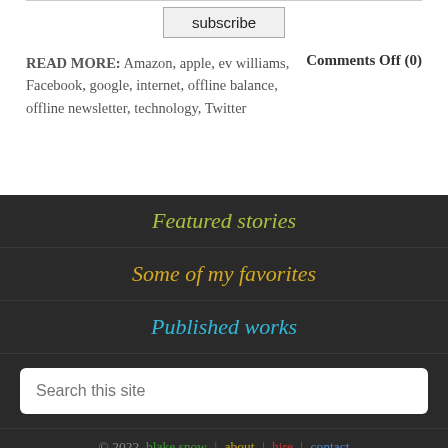subscribe
READ MORE: Amazon, apple, ev williams, Facebook, google, internet, offline balance, offline newsletter, technology, Twitter    Comments Off (0)
Featured stories
Some of my favorites
Published works
Search this site
© 2022  blake snow | about | hire | contact